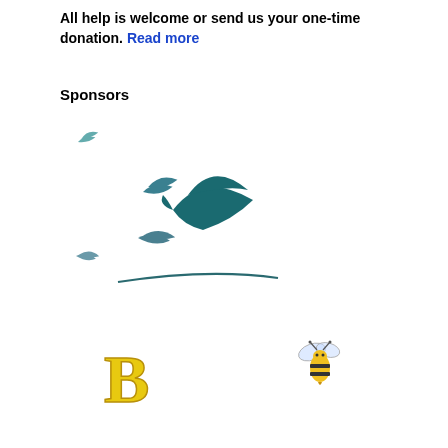All help is welcome or send us your one-time donation. Read more
Sponsors
[Figure (illustration): Flying birds silhouette logo with teal/dark teal colors — multiple birds in flight with a curved line beneath, forming a sponsor logo]
[Figure (logo): Bold yellow letter B logo (sponsor logo)]
[Figure (illustration): Cartoon bee illustration (sponsor logo)]